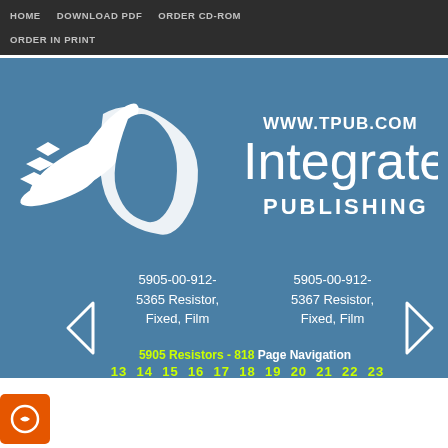HOME   DOWNLOAD PDF   ORDER CD-ROM   ORDER IN PRINT
[Figure (logo): Integrated Publishing logo with stylized bird/arrow graphic and text 'WWW.TPUB.COM Integrated PUBLISHING' on blue background]
5905-00-912-5365 Resistor, Fixed, Film
5905-00-912-5367 Resistor, Fixed, Film
5905 Resistors - 818 Page Navigation
13 14 15 16 17 18 19 20 21 22 23